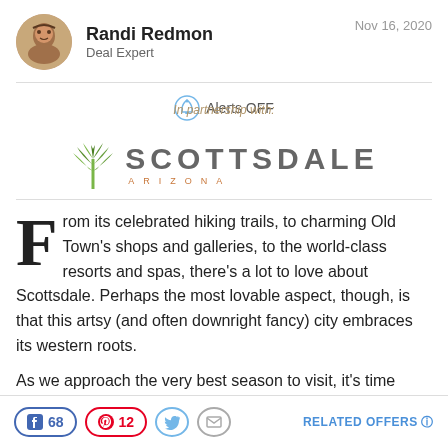Randi Redmon | Deal Expert | Nov 16, 2020
[Figure (infographic): Scottsdale Arizona partnership logo with agave plant icon and Scottsdale Arizona text]
From its celebrated hiking trails, to charming Old Town's shops and galleries, to the world-class resorts and spas, there's a lot to love about Scottsdale. Perhaps the most lovable aspect, though, is that this artsy (and often downright fancy) city embraces its western roots.
As we approach the very best season to visit, it's time
Facebook 68 | Pinterest 12 | Twitter | Email | RELATED OFFERS